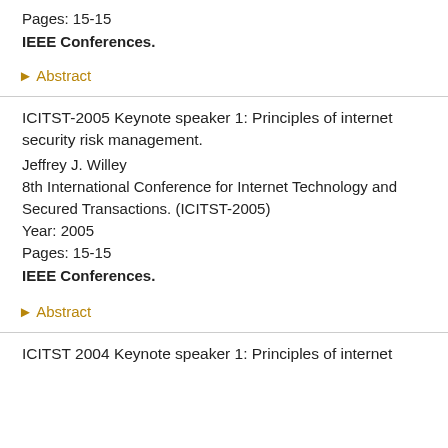Pages: 15-15
IEEE Conferences.
▶ Abstract
ICITST-2005 Keynote speaker 1: Principles of internet security risk management.
Jeffrey J. Willey
8th International Conference for Internet Technology and Secured Transactions. (ICITST-2005)
Year: 2005
Pages: 15-15
IEEE Conferences.
▶ Abstract
ICITST 2004 Keynote speaker 1: Principles of internet